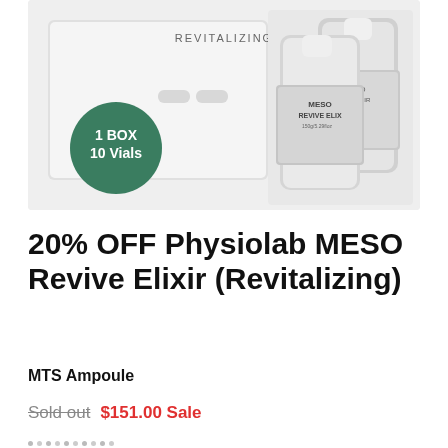[Figure (photo): Product photo of Physiolab MESO Revive Elixir (Revitalizing) — a white box and two small vials/bottles with silver labels reading MESO REVIVE ELIXIR, with a green circular badge overlay reading '1 BOX 10 Vials', on a light gray background with the word REVITALIZING at top center]
20% OFF Physiolab MESO Revive Elixir (Revitalizing)
MTS Ampoule
Sold out $151.00 Sale